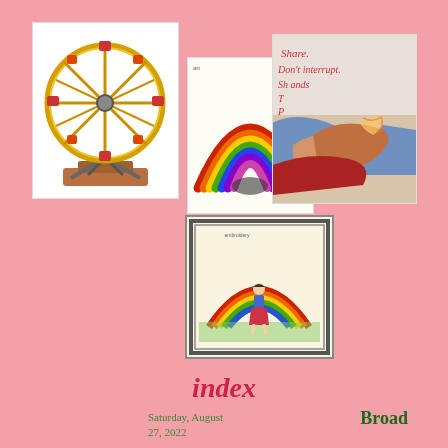[Figure (photo): Photo of a yellow ferris wheel model/toy on white background]
[Figure (illustration): Child's crayon drawing of a colorful rainbow on white paper]
[Figure (photo): Photo of children's hands stacked together with text on wall behind reading 'Share. Don't interrupt. Shake hands.']
[Figure (illustration): Embroidered or illustrated artwork showing a girl standing under a rainbow on a light cream background with border]
index
Saturday, August 27, 2022
Broad